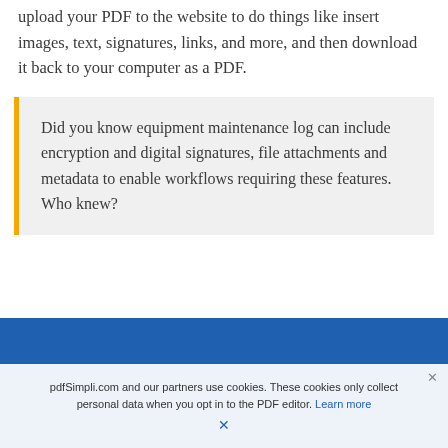upload your PDF to the website to do things like insert images, text, signatures, links, and more, and then download it back to your computer as a PDF.
Did you know equipment maintenance log can include encryption and digital signatures, file attachments and metadata to enable workflows requiring these features. Who knew?
pdfSimpli.com and our partners use cookies. These cookies only collect personal data when you opt in to the PDF editor. Learn more